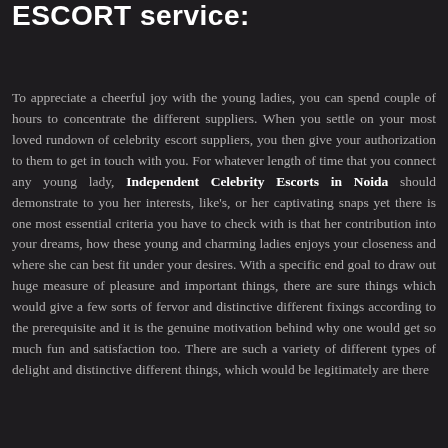ESCORT service:
To appreciate a cheerful joy with the young ladies, you can spend couple of hours to concentrate the different suppliers. When you settle on your most loved rundown of celebrity escort suppliers, you then give your authorization to them to get in touch with you. For whatever length of time that you connect any young lady, Independent Celebrity Escorts in Noida should demonstrate to you her interests, like's, or her captivating snaps yet there is one most essential criteria you have to check with is that her contribution into your dreams, how these young and charming ladies enjoys your closeness and where she can best fit under your desires. With a specific end goal to draw out huge measure of pleasure and important things, there are sure things which would give a few sorts of fervor and distinctive different fixings according to the prerequisite and it is the genuine motivation behind why one would get so much fun and satisfaction too. There are such a variety of different types of delight and distinctive different things, which would be legitimately are there